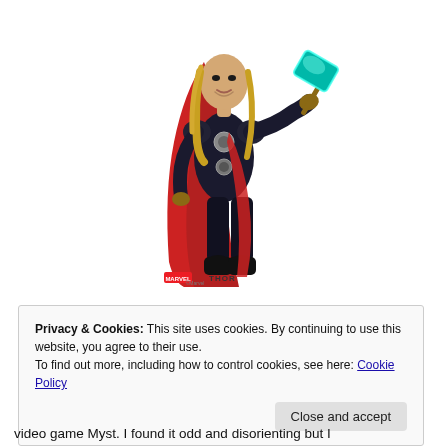[Figure (illustration): Full-body illustration of Thor (Marvel superhero) in black armor with red cape, holding Mjolnir (hammer) extended forward. Marvel THOR logo watermark at the bottom of the image.]
Privacy & Cookies: This site uses cookies. By continuing to use this website, you agree to their use.
To find out more, including how to control cookies, see here: Cookie Policy
Close and accept
video game Myst. I found it odd and disorienting but I